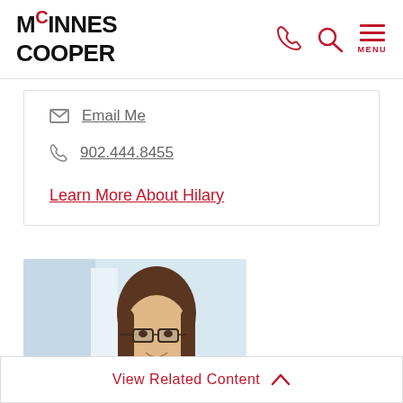McInnes Cooper - navigation header with logo, phone, search, and menu icons
Email Me
902.444.8455
Learn More About Hilary
[Figure (photo): Professional headshot of a woman with brown hair and glasses, smiling, light blue/white background]
View Related Content